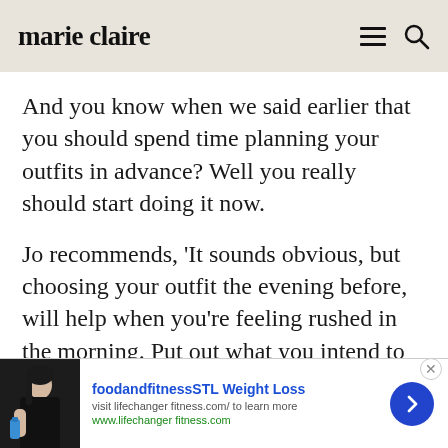marie claire
And you know when we said earlier that you should spend time planning your outfits in advance? Well you really should start doing it now.
Jo recommends, 'It sounds obvious, but choosing your outfit the evening before, will help when you're feeling rushed in the morning. Put out what you intend to wear, from
[Figure (screenshot): Advertisement banner for foodandfitnessSTL Weight Loss. Shows a person holding a water bottle. Text reads 'foodandfitnessSTL Weight Loss', 'visit lifechanger fitness.com/ to learn more', 'www.lifechanger fitness.com'. Has a blue arrow button on the right.]